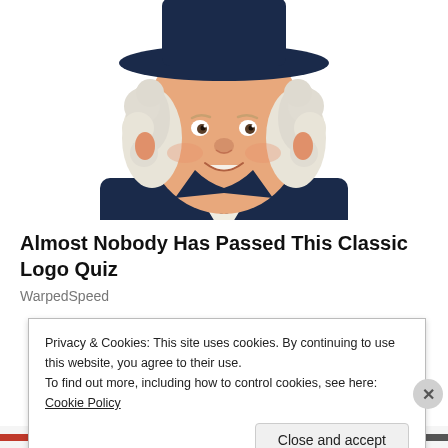[Figure (illustration): Quaker Oats man mascot illustration: a smiling Colonial-era man with white curly hair and a dark navy coat with white cravat, wearing a wide-brimmed navy hat.]
Almost Nobody Has Passed This Classic Logo Quiz
WarpedSpeed
Privacy & Cookies: This site uses cookies. By continuing to use this website, you agree to their use.
To find out more, including how to control cookies, see here: Cookie Policy
Close and accept